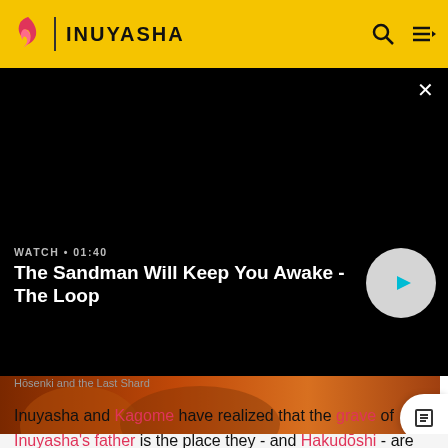INUYASHA
[Figure (screenshot): Black video player with text 'WATCH • 01:40' and title 'The Sandman Will Keep You Awake - The Loop', with a circular play button on the right]
Hōsenki and the Last Shard
Inuyasha and Kagome have realized that the grave of Inuyasha's father is the place they - and Hakudōshi - are seeking.